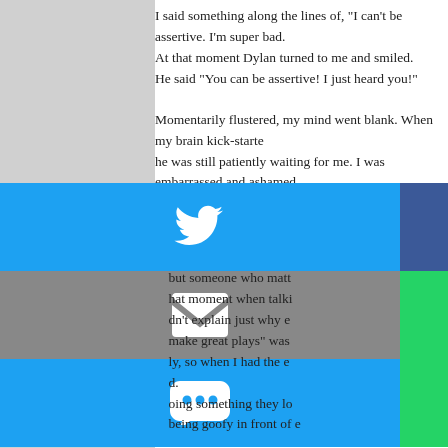I said something along the lines of, "I can't be assertive. I'm super bad. At that moment Dylan turned to me and smiled. He said "You can be assertive! I just heard you!"
Momentarily flustered, my mind went blank. When my brain kick-started he was still patiently waiting for me. I was embarrassed and ashamed whining, and I just stood there woodenly. I guess he saw my obvious d the-headlights look. He just smiled and talked to me naturally. He waite back together. He was just so easy-going about everything. When stuf always feel embarrassed about it, and hate myself afterward because Dylan made me feel like it wasn't a big deal, and maybe to him it wasn
I was still tongue-tied throughout the whole conversation, but he stil m special. He took his time talking to me. Dylan made me feel like he ha to talk to me. No rush, just a normal conversation. Dylan made me fee but someone who matt hat moment when talki dn't explain just why e make great plays" was ly, so when I had the e d. oing something they lo being goofy in front of e
[Figure (infographic): Social media share buttons overlay: Twitter (blue), Facebook (dark blue), Email (gray), WhatsApp (green), SMS (blue), Other/share (green)]